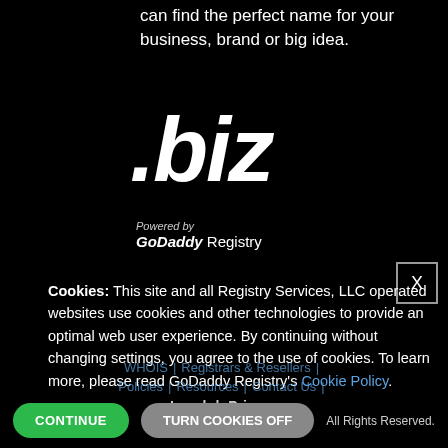can find the perfect name for your business, brand or big idea.
[Figure (logo): .biz logo in large bold italic white text on black background]
Powered by GoDaddy Registry
X (close button)
Cookies: This site and all Registry Services, LLC operated websites use cookies and other technologies to provide an optimal web user experience. By continuing without changing settings, you agree to the use of cookies. To learn more, please read GoDaddy Registry's Cookie Policy.
WHOIS | Registrars & Resellers | Policies | Resources | Contact Us | Legal | Privacy
CONTINUE   TURN COOKIES OFF   All Rights Reserved.